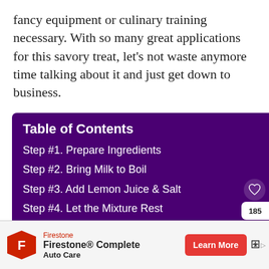fancy equipment or culinary training necessary. With so many great applications for this savory treat, let's not waste anymore time talking about it and just get down to business.
Table of Contents
Step #1. Prepare Ingredients
Step #2. Bring Milk to Boil
Step #3. Add Lemon Juice & Salt
Step #4. Let the Mixture Rest
Step #5. Remove Ricotta Clumps to Cheese Cloth
Step #6. Let the Ricotta Rest & Spoon into Jars
[Figure (infographic): Firestone Complete Auto Care advertisement banner with red logo shield, brand name, and Learn More button]